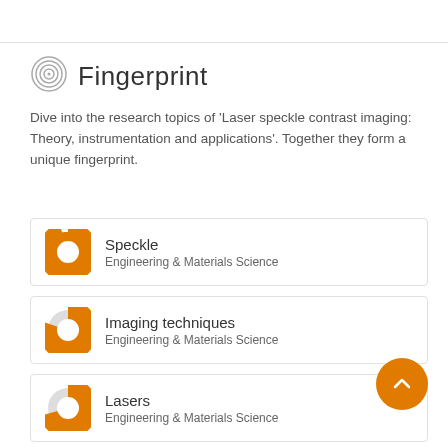Fingerprint
Dive into the research topics of 'Laser speckle contrast imaging: Theory, instrumentation and applications'. Together they form a unique fingerprint.
Speckle — Engineering & Materials Science
Imaging techniques — Engineering & Materials Science
Lasers — Engineering & Materials Science
Blood